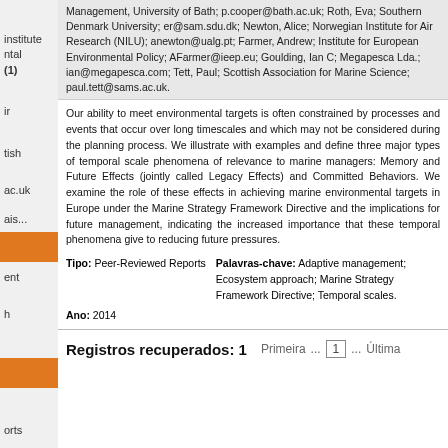institute ntal (1)
ir
tish
ac.uk
ais...
ent
h
Management, University of Bath; p.cooper@bath.ac.uk; Roth, Eva; Southern Denmark University; er@sam.sdu.dk; Newton, Alice; Norwegian Institute for Air Research (NILU); anewton@ualg.pt; Farmer, Andrew; Institute for European Environmental Policy; AFarmer@ieep.eu; Goulding, Ian C; Megapesca Lda.; ian@megapesca.com; Tett, Paul; Scottish Association for Marine Science; paul.tett@sams.ac.uk.
Our ability to meet environmental targets is often constrained by processes and events that occur over long timescales and which may not be considered during the planning process. We illustrate with examples and define three major types of temporal scale phenomena of relevance to marine managers: Memory and Future Effects (jointly called Legacy Effects) and Committed Behaviors. We examine the role of these effects in achieving marine environmental targets in Europe under the Marine Strategy Framework Directive and the implications for future management, indicating the increased importance that these temporal phenomena give to reducing future pressures.
Tipo: Peer-Reviewed Reports
Palavras-chave: Adaptive management; Ecosystem approach; Marine Strategy Framework Directive; Temporal scales.
Ano: 2014
Registros recuperados: 1
Primeira ... 1 ... Última
orts